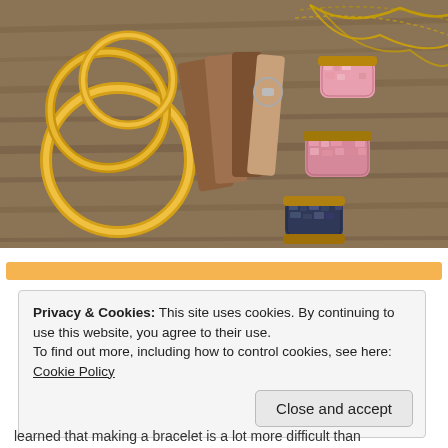[Figure (photo): Photo of jewelry and accessories on a wooden surface: gold bangles/rings on left, a brown leather folded wallet/strap in center, crystal/druzy pendant necklace with gold chain at top right, two pink/rose druzy stone pieces and one dark blue druzy stone piece, all arranged on a grey wood-grain surface.]
Privacy & Cookies: This site uses cookies. By continuing to use this website, you agree to their use.
To find out more, including how to control cookies, see here: Cookie Policy
Close and accept
learned that making a bracelet is a lot more difficult than